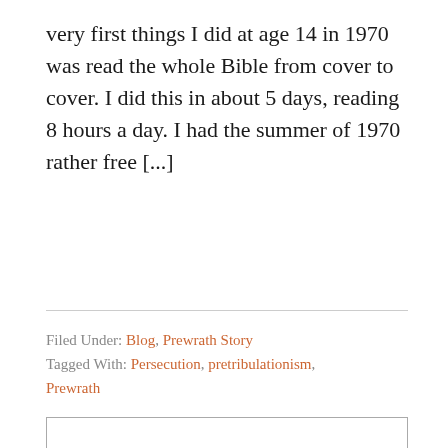very first things I did at age 14 in 1970 was read the whole Bible from cover to cover. I did this in about 5 days, reading 8 hours a day. I had the summer of 1970 rather free [...]
Filed Under: Blog, Prewrath Story
Tagged With: Persecution, pretribulationism, Prewrath
Next Page »